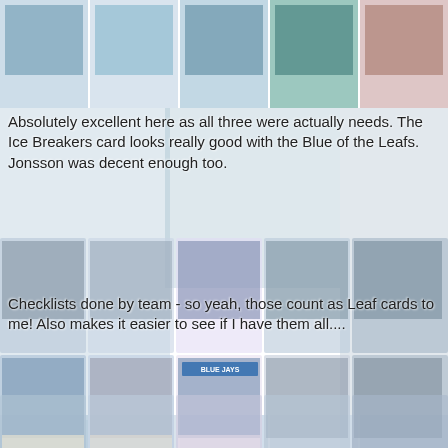[Figure (photo): Collage background of sports trading cards including Toronto Blue Jays baseball cards and Toronto Maple Leafs hockey cards arranged in a grid pattern spanning the full page.]
Absolutely excellent here as all three were actually needs. The Ice Breakers card looks really good with the Blue of the Leafs. Jonsson was decent enough too.
Checklists done by team - so yeah, those count as Leaf cards to me! Also makes it easier to see if I have them all....